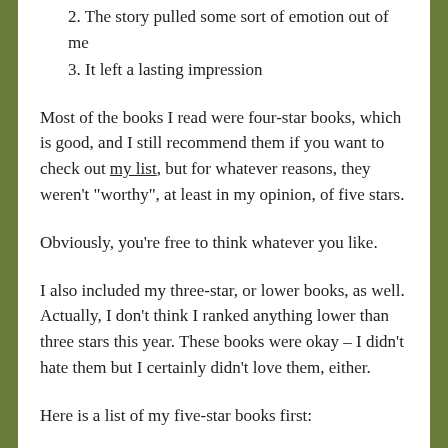2. The story pulled some sort of emotion out of me
3. It left a lasting impression
Most of the books I read were four-star books, which is good, and I still recommend them if you want to check out my list, but for whatever reasons, they weren't "worthy", at least in my opinion, of five stars.
Obviously, you're free to think whatever you like.
I also included my three-star, or lower books, as well. Actually, I don't think I ranked anything lower than three stars this year. These books were okay – I didn't hate them but I certainly didn't love them, either.
Here is a list of my five-star books first:
I discovered Andrew Mayne this year. And as you can see